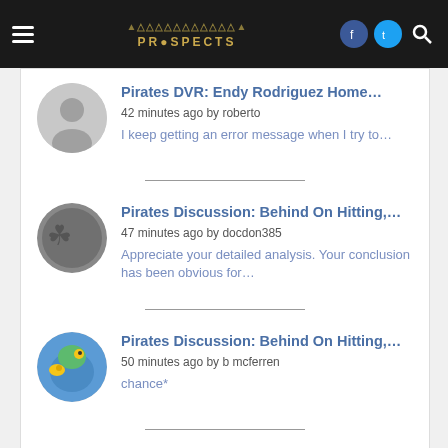Prospects (navigation header with hamburger menu, logo, Facebook, Twitter, Search icons)
Pirates DVR: Endy Rodriguez Home... | 42 minutes ago by roberto | I keep getting an error message when I try to...
Pirates Discussion: Behind On Hitting,... | 47 minutes ago by docdon385 | Appreciate your detailed analysis. Your conclusion has been obvious for...
Pirates Discussion: Behind On Hitting,... | 50 minutes ago by b mcferren | chance*